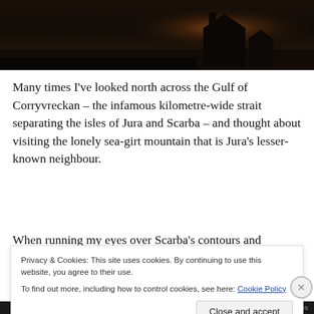[Figure (photo): Dark silhouette photograph of a building/structure against a dramatic sunset sky over water, with warm orange-red glow on the horizon]
Many times I've looked north across the Gulf of Corryvreckan – the infamous kilometre-wide strait separating the isles of Jura and Scarba – and thought about visiting the lonely sea-girt mountain that is Jura's lesser-known neighbour.
When running my eyes over Scarba's contours and
Privacy & Cookies: This site uses cookies. By continuing to use this website, you agree to their use.
To find out more, including how to control cookies, see here: Cookie Policy
Close and accept